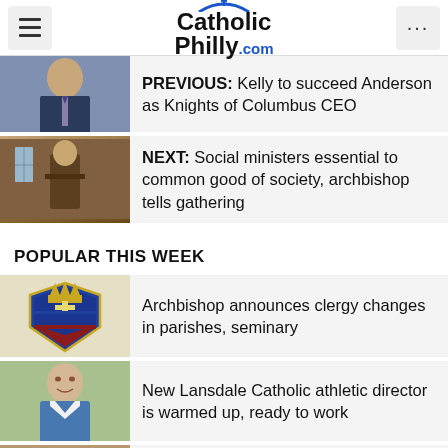[Figure (logo): CatholicPhilly.com logo with cross and arch above text]
PREVIOUS: Kelly to succeed Anderson as Knights of Columbus CEO
NEXT: Social ministers essential to common good of society, archbishop tells gathering
POPULAR THIS WEEK
Archbishop announces clergy changes in parishes, seminary
New Lansdale Catholic athletic director is warmed up, ready to work